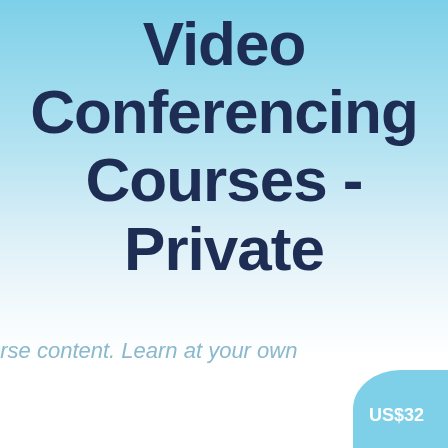Video Conferencing Courses - Private
urse content. Learn at your own
US$32